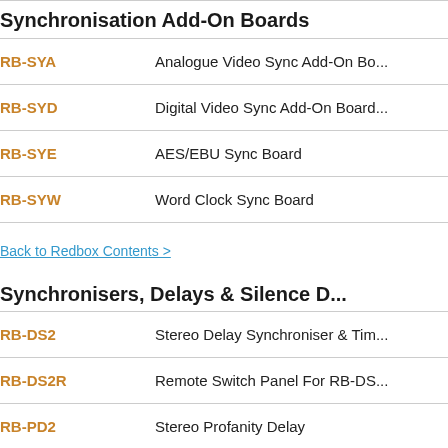Synchronisation Add-On Boards
RB-SYA — Analogue Video Sync Add-On Board
RB-SYD — Digital Video Sync Add-On Board
RB-SYE — AES/EBU Sync Board
RB-SYW — Word Clock Sync Board
Back to Redbox Contents >
Synchronisers, Delays & Silence D...
RB-DS2 — Stereo Delay Synchroniser & Tim...
RB-DS2R — Remote Switch Panel For RB-DS...
RB-PD2 — Stereo Profanity Delay